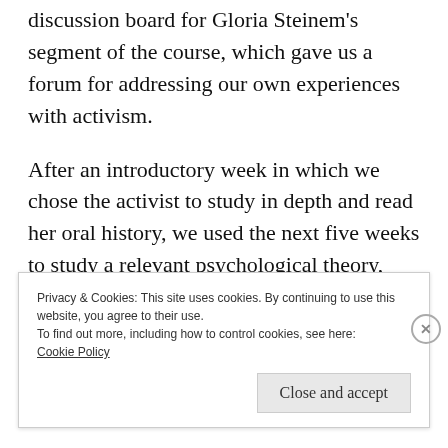discussion board for Gloria Steinem's segment of the course, which gave us a forum for addressing our own experiences with activism.
After an introductory week in which we chose the activist to study in depth and read her oral history, we used the next five weeks to study a relevant psychological theory, beginning with earlier work and progressing through to more recent developments in the field. We read scholarly articles and viewed Professor
Privacy & Cookies: This site uses cookies. By continuing to use this website, you agree to their use.
To find out more, including how to control cookies, see here:
Cookie Policy